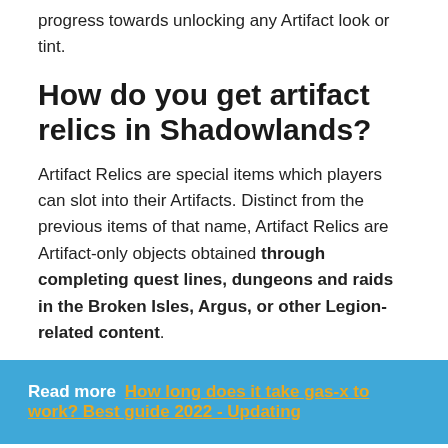progress towards unlocking any Artifact look or tint.
How do you get artifact relics in Shadowlands?
Artifact Relics are special items which players can slot into their Artifacts. Distinct from the previous items of that name, Artifact Relics are Artifact-only objects obtained through completing quest lines, dungeons and raids in the Broken Isles, Argus, or other Legion-related content.
Read more  How long does it take gas-x to work? Best guide 2022 - Updating
Can you change artifact weapons?